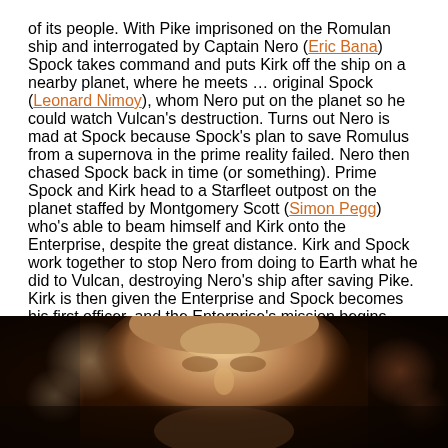of its people. With Pike imprisoned on the Romulan ship and interrogated by Captain Nero (Eric Bana) Spock takes command and puts Kirk off the ship on a nearby planet, where he meets … original Spock (Leonard Nimoy), whom Nero put on the planet so he could watch Vulcan's destruction. Turns out Nero is mad at Spock because Spock's plan to save Romulus from a supernova in the prime reality failed. Nero then chased Spock back in time (or something). Prime Spock and Kirk head to a Starfleet outpost on the planet staffed by Montgomery Scott (Simon Pegg) who's able to beam himself and Kirk onto the Enterprise, despite the great distance. Kirk and Spock work together to stop Nero from doing to Earth what he did to Vulcan, destroying Nero's ship after saving Pike. Kirk is then given the Enterprise and Spock becomes his first officer, and the Enterprise's mission begins anew.
[Figure (photo): Close-up photo of a man's face (appears to be Chris Pine as Captain Kirk) with bokeh background lighting in warm orange and dark tones]